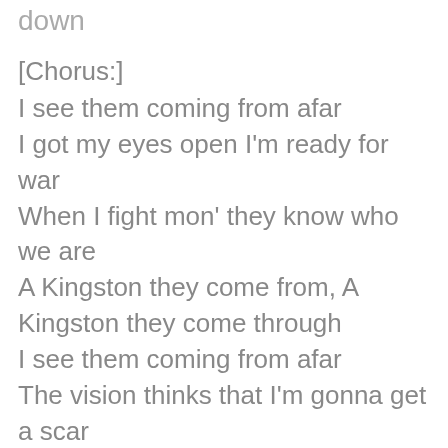down
[Chorus:]
I see them coming from afar
I got my eyes open I'm ready for war
When I fight mon' they know who we are
A Kingston they come from, A Kingston they come through
I see them coming from afar
The vision thinks that I'm gonna get a scar
When I fight mon' they know who we are
A Kingston they come from, A Kingston they come through